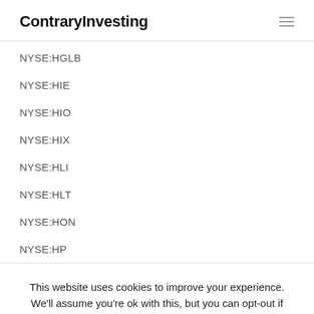ContraryInvesting
NYSE:HGLB
NYSE:HIE
NYSE:HIO
NYSE:HIX
NYSE:HLI
NYSE:HLT
NYSE:HON
NYSE:HP
This website uses cookies to improve your experience. We'll assume you're ok with this, but you can opt-out if you wish. Cookie settings ACCEPT